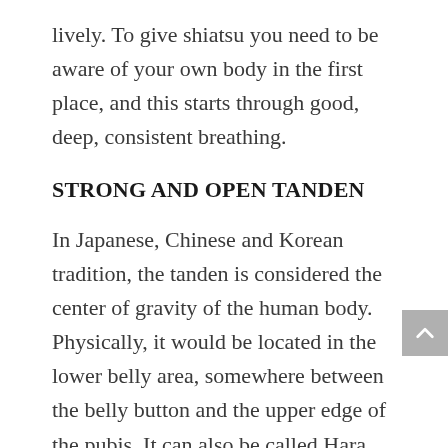lively. To give shiatsu you need to be aware of your own body in the first place, and this starts through good, deep, consistent breathing.
STRONG AND OPEN TANDEN
In Japanese, Chinese and Korean tradition, the tanden is considered the center of gravity of the human body. Physically, it would be located in the lower belly area, somewhere between the belly button and the upper edge of the pubis. It can also be called Hara, which in Japanese can be translated as the stomach (remember Hara-Kiri, this form